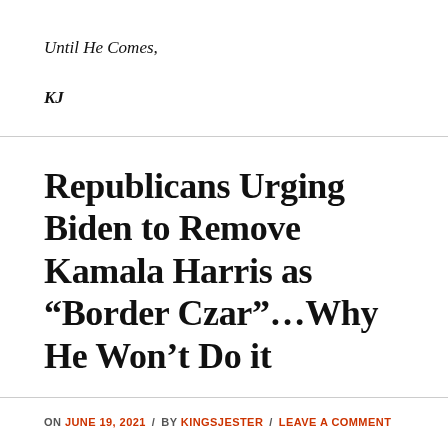Until He Comes,
KJ
Republicans Urging Biden to Remove Kamala Harris as “Border Czar”…Why He Won’t Do it
ON JUNE 19, 2021 / BY KINGSJESTER / LEAVE A COMMENT